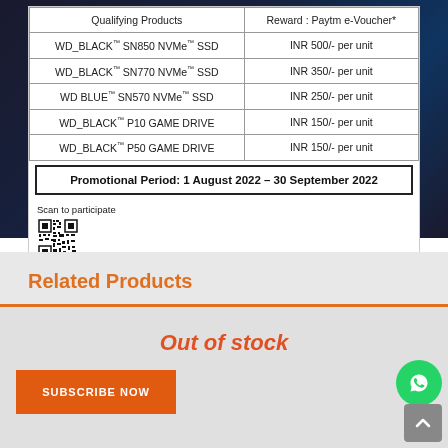[Figure (screenshot): Promotional advertisement for WD products showing a table of qualifying products and Paytm e-Voucher rewards, with promotional period and QR code to participate, on a dark blue/red background.]
| Qualifying Products | Reward : Paytm e-Voucher* |
| --- | --- |
| WD_BLACK™ SN850 NVMe™ SSD | INR 500/- per unit |
| WD_BLACK™ SN770 NVMe™ SSD | INR 350/- per unit |
| WD BLUE™ SN570 NVMe™ SSD | INR 250/- per unit |
| WD_BLACK™ P10 GAME DRIVE | INR 150/- per unit |
| WD_BLACK™ P50 GAME DRIVE | INR 150/- per unit |
Promotional Period: 1 August 2022 – 30 September 2022
Scan to participate
Related Products
Out of stock
SUBSCRIBE NOW